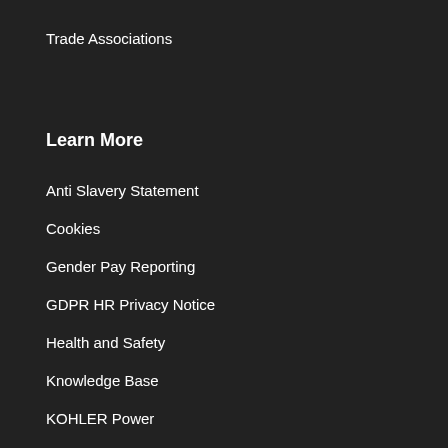Trade Associations
Learn More
Anti Slavery Statement
Cookies
Gender Pay Reporting
GDPR HR Privacy Notice
Health and Safety
Knowledge Base
KOHLER Power
Privacy Policy
Subject Access Request